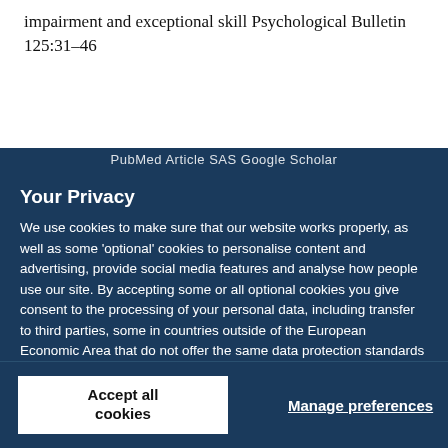impairment and exceptional skill Psychological Bulletin 125:31–46
Your Privacy
We use cookies to make sure that our website works properly, as well as some 'optional' cookies to personalise content and advertising, provide social media features and analyse how people use our site. By accepting some or all optional cookies you give consent to the processing of your personal data, including transfer to third parties, some in countries outside of the European Economic Area that do not offer the same data protection standards as the country where you live. You can decide which optional cookies to accept by clicking on 'Manage Settings', where you can also find more information about how your personal data is processed. Further information can be found in our privacy policy.
Accept all cookies
Manage preferences